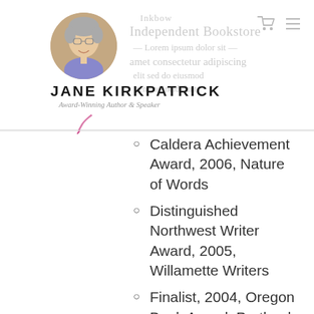[Figure (photo): Circular profile photo of Jane Kirkpatrick, a woman with short gray hair and glasses, smiling]
JANE KIRKPATRICK
Award-Winning Author & Speaker
Caldera Achievement Award, 2006, Nature of Words
Distinguished Northwest Writer Award, 2005, Willamette Writers
Finalist, 2004, Oregon Book Award, Portland Literary Arts